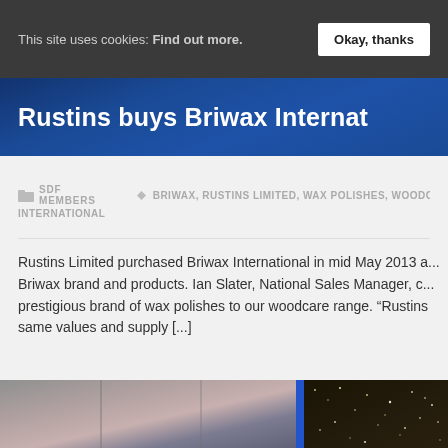This site uses cookies: Find out more. Okay, thanks
Rustins buys Briwax Internat
SDF MEMBERS   BRIWAX, RUSTINS LIMITED, WAX POLISHES, WOODC... INTERNATIONAL
Rustins Limited purchased Briwax International in mid May 2013 a... Briwax brand and products. Ian Slater, National Sales Manager, c... prestigious brand of wax polishes to our woodcare range. “Rustins... same values and supply [...]
[Figure (photo): Bottom portion of page showing two images side by side: left image shows wooden panels or surfaces with a blue stripe, right image shows a dark background with scattered light spots resembling stars]